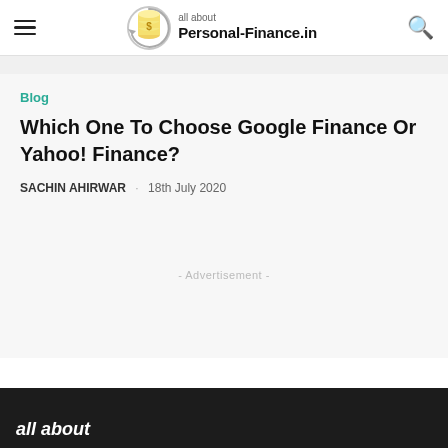all about Personal-Finance.in
Blog
Which One To Choose Google Finance Or Yahoo! Finance?
SACHIN AHIRWAR · 18th July 2020
- Advertisement -
all about